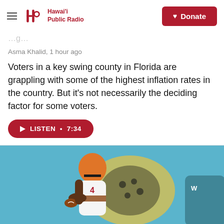Hawaii Public Radio | Donate
Asma Khalid, 1 hour ago
Voters in a key swing county in Florida are grappling with some of the highest inflation rates in the country. But it's not necessarily the deciding factor for some voters.
LISTEN • 7:34
[Figure (photo): A Cleveland Browns quarterback wearing orange helmet and white #4 jersey drops back to throw during a game, with a Jacksonville Jaguars logo visible in the background]
KHPR Echoes